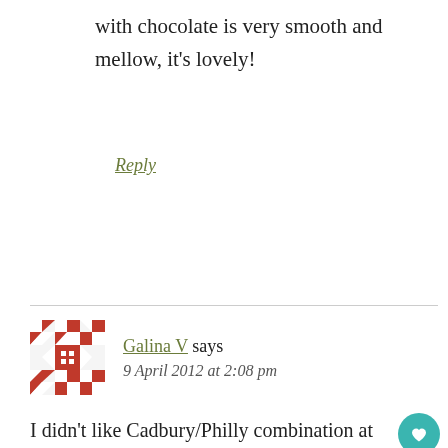with chocolate is very smooth and mellow, it's lovely!
Reply
Galina V says
9 April 2012 at 2:08 pm
I didn't like Cadbury/Philly combination at all. I wasn't prejudiced to start with, but once tried, realised that I really-really don't like it. I made